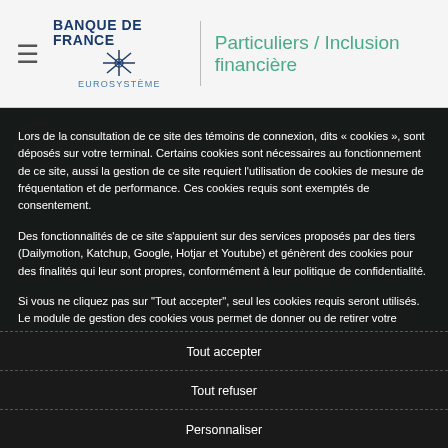Banque de France EUROSYSTÈME — Particuliers / Inclusion financière
Lors de la consultation de ce site des témoins de connexion, dits « cookies », sont déposés sur votre terminal. Certains cookies sont nécessaires au fonctionnement de ce site, aussi la gestion de ce site requiert l'utilisation de cookies de mesure de fréquentation et de performance. Ces cookies requis sont exemptés de consentement.
Des fonctionnalités de ce site s'appuient sur des services proposés par des tiers (Dailymotion, Katchup, Google, Hotjar et Youtube) et génèrent des cookies pour des finalités qui leur sont propres, conformément à leur politique de confidentialité.
Si vous ne cliquez pas sur "Tout accepter", seul les cookies requis seront utilisés. Le module de gestion des cookies vous permet de donner ou de retirer votre consentement, soit globalement soit finalité par finalité. Vous pouvez retrouver ce module à tout moment en cliquant sur l'onglet "Centre de confidentialité" en bas de page. Vos préférences sont conservées pour une durée de 6 mois. Elles ne sont pas cédées à des tiers ni utilisées à d'autres fins.
Tout accepter
Tout refuser
Personnaliser
Délégation de pouvoirs du directeur général des Services à l'économie et du Réseau au Directeur régional des Hauts de